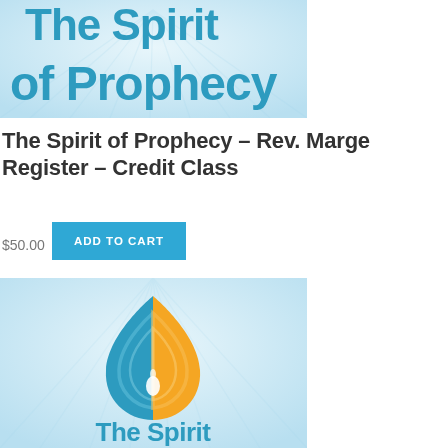[Figure (illustration): Top portion of 'The Spirit of Prophecy' book or course cover with teal/blue text on a light blue radiant background, showing partial text 'The Spirit of Prophecy']
The Spirit of Prophecy – Rev. Marge Register – Credit Class
$50.00
ADD TO CART
[Figure (logo): The Spirit of Prophecy logo: a flame/droplet shape split into teal blue (left) and golden yellow (right) halves with a small candle/droplet symbol inside, and 'The Spirit' text in teal below on a light blue radiant background]